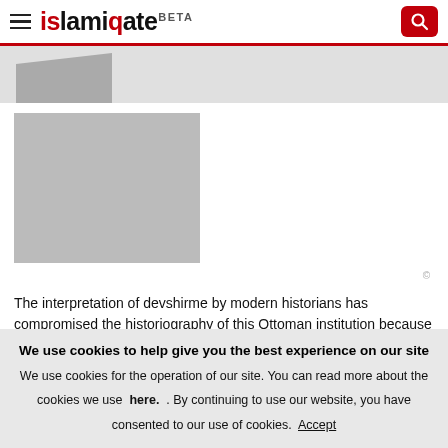islamiqate BETA
[Figure (photo): Partially visible image at top of article, shown as grey placeholder]
[Figure (photo): Article image placeholder, grey rectangle]
The interpretation of devshirme by modern historians has compromised the historiography of this Ottoman institution because of the imposition of modern values on medieval people. Devshirme is a Turkish term translated the 'levy of boys' describing a draft of Christian boys who were enslaved for service to the sultan in his palace and to field his "new corps", the janissaries.
We use cookies to help give you the best experience on our site We use cookies for the operation of our site. You can read more about the cookies we use here. . By continuing to use our website, you have consented to our use of cookies. Accept